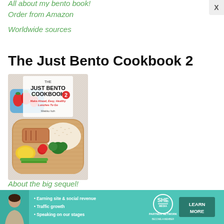All about my bento book!
Order from Amazon
Worldwide sources
The Just Bento Cookbook 2
[Figure (photo): Book cover of The Just Bento Cookbook 2 by Makiko Itoh, showing a wooden bento box filled with rice, grilled fish, broccoli, cherry tomatoes, asparagus, and egg, alongside a blue container with strawberries. Subtitle: Make-Ahead, Easy, Healthy Lunches To Go.]
About the big sequel!
[Figure (infographic): SHE Partner Network advertisement banner with a woman's photo, bullet points: Earning site & social revenue, Traffic growth, Speaking on our stages. SHE logo and LEARN MORE button.]